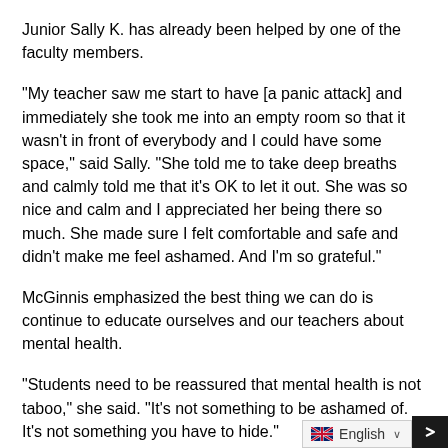Junior Sally K. has already been helped by one of the faculty members.
“My teacher saw me start to have [a panic attack] and immediately she took me into an empty room so that it wasn’t in front of everybody and I could have some space,” said Sally. “She told me to take deep breaths and calmly told me that it’s OK to let it out. She was so nice and calm and I appreciated her being there so much. She made sure I felt comfortable and safe and didn’t make me feel ashamed. And I’m so grateful.”
McGinnis emphasized the best thing we can do is continue to educate ourselves and our teachers about mental health.
“Students need to be reassured that mental health is not taboo,” she said. “It’s not something to be ashamed of. It’s not something you have to hide.”